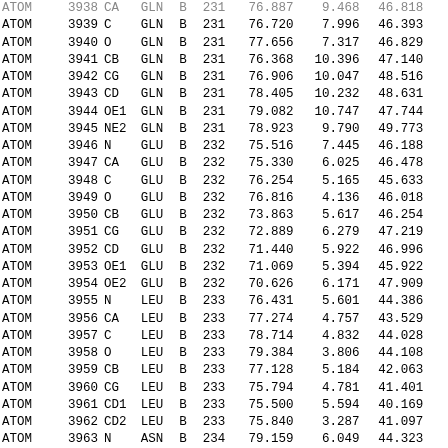| Record | Serial | Name | ResName | Chain | SeqNum | X | Y | Z | ... |
| --- | --- | --- | --- | --- | --- | --- | --- | --- | --- |
| ATOM | 3938 | CA | GLN | B | 231 | 76.887 | 9.468 | 46.818 |  |
| ATOM | 3939 | C | GLN | B | 231 | 76.720 | 7.996 | 46.393 |  |
| ATOM | 3940 | O | GLN | B | 231 | 77.656 | 7.317 | 46.829 |  |
| ATOM | 3941 | CB | GLN | B | 231 | 76.368 | 10.396 | 47.140 |  |
| ATOM | 3942 | CG | GLN | B | 231 | 76.906 | 10.047 | 48.516 |  |
| ATOM | 3943 | CD | GLN | B | 231 | 78.405 | 10.232 | 48.631 |  |
| ATOM | 3944 | OE1 | GLN | B | 231 | 79.082 | 10.747 | 47.744 |  |
| ATOM | 3945 | NE2 | GLN | B | 231 | 78.923 | 9.790 | 49.773 |  |
| ATOM | 3946 | N | GLU | B | 232 | 75.516 | 7.445 | 46.188 |  |
| ATOM | 3947 | CA | GLU | B | 232 | 75.330 | 6.025 | 46.478 |  |
| ATOM | 3948 | C | GLU | B | 232 | 76.254 | 5.165 | 45.633 |  |
| ATOM | 3949 | O | GLU | B | 232 | 76.816 | 4.136 | 46.018 |  |
| ATOM | 3950 | CB | GLU | B | 232 | 73.863 | 5.617 | 46.254 |  |
| ATOM | 3951 | CG | GLU | B | 232 | 72.889 | 6.279 | 47.219 |  |
| ATOM | 3952 | CD | GLU | B | 232 | 71.440 | 5.922 | 46.996 |  |
| ATOM | 3953 | OE1 | GLU | B | 232 | 71.069 | 5.394 | 45.922 |  |
| ATOM | 3954 | OE2 | GLU | B | 232 | 70.626 | 6.171 | 47.909 |  |
| ATOM | 3955 | N | LEU | B | 233 | 76.431 | 5.601 | 44.386 |  |
| ATOM | 3956 | CA | LEU | B | 233 | 77.274 | 4.757 | 43.529 |  |
| ATOM | 3957 | C | LEU | B | 233 | 78.714 | 4.832 | 44.028 |  |
| ATOM | 3958 | O | LEU | B | 233 | 79.384 | 3.806 | 44.108 |  |
| ATOM | 3959 | CB | LEU | B | 233 | 77.128 | 5.184 | 42.063 |  |
| ATOM | 3960 | CG | LEU | B | 233 | 75.794 | 4.781 | 41.401 |  |
| ATOM | 3961 | CD1 | LEU | B | 233 | 75.500 | 5.594 | 40.169 |  |
| ATOM | 3962 | CD2 | LEU | B | 233 | 75.840 | 3.287 | 41.097 |  |
| ATOM | 3963 | N | ASN | B | 234 | 79.159 | 6.049 | 44.323 |  |
| ATOM | 3964 | CA | ASN | B | 234 | 80.536 | 6.239 | 44.822 |  |
| ATOM | 3965 | C | ASN | B | 234 | 80.736 | 5.327 | 46.022 |  |
| ATOM | 3966 | O | ASN | B | 234 | 81.695 | 4.573 | 46.163 |  |
| ATOM | 3967 | CB | ASN | B | 234 | 80.795 | 7.705 | 45.157 |  |
| ATOM | 3968 | CG | ASN | B | 234 | 82.222 | 8.137 | 45.388 |  |